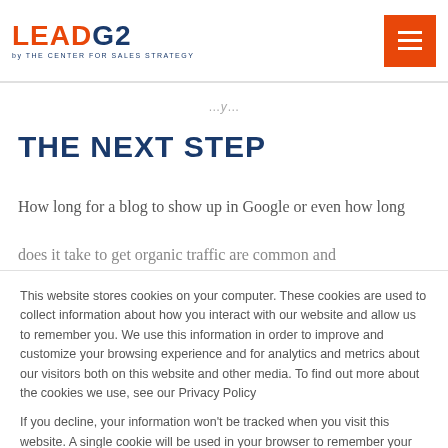LEADG2 by THE CENTER FOR SALES STRATEGY
THE NEXT STEP
How long for a blog to show up in Google or even how long does it take to get organic traffic are common and
This website stores cookies on your computer. These cookies are used to collect information about how you interact with our website and allow us to remember you. We use this information in order to improve and customize your browsing experience and for analytics and metrics about our visitors both on this website and other media. To find out more about the cookies we use, see our Privacy Policy

If you decline, your information won't be tracked when you visit this website. A single cookie will be used in your browser to remember your preference not to be tracked.